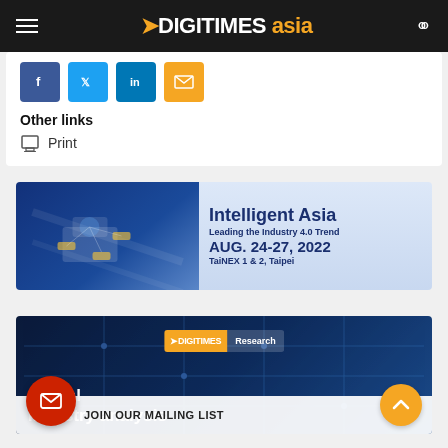DIGITIMES asia
Other links
Print
[Figure (screenshot): Intelligent Asia banner ad — Leading the Industry 4.0 Trend, AUG. 24-27, 2022, TaiNEX 1 & 2, Taipei]
[Figure (screenshot): DIGITIMES Research banner ad — Global industry analysis with JOIN OUR MAILING LIST overlay]